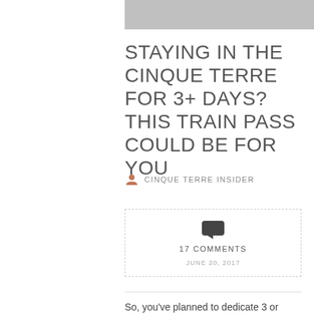[Figure (photo): Partial gray image at top of page]
STAYING IN THE CINQUE TERRE FOR 3+ DAYS? THIS TRAIN PASS COULD BE FOR YOU
CINQUE TERRE INSIDER
17 COMMENTS
JUNE 20, 2017
So, you've planned to dedicate 3 or